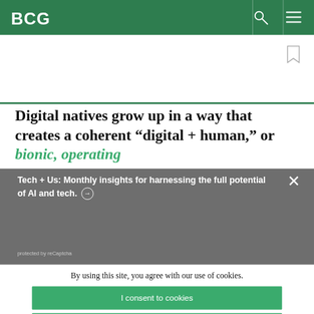BCG
Digital natives grow up in a way that creates a coherent “digital + human,” or bionic, operating
Tech + Us: Monthly insights for harnessing the full potential of AI and tech. →
protected by reCaptcha
By using this site, you agree with our use of cookies.
I consent to cookies
Want to know more?
Read our Cookie Policy